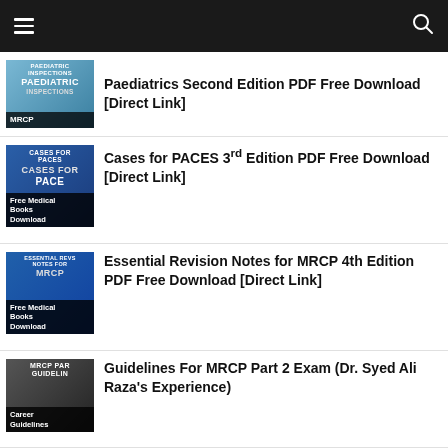Navigation bar with hamburger menu and search icon
Paediatrics Second Edition PDF Free Download [Direct Link]
Cases for PACES 3rd Edition PDF Free Download [Direct Link]
Essential Revision Notes for MRCP 4th Edition PDF Free Download [Direct Link]
Guidelines For MRCP Part 2 Exam (Dr. Syed Ali Raza's Experience)
Complete Study Material for MRCP Part 1, Part 2 & PACES (Free PDF...